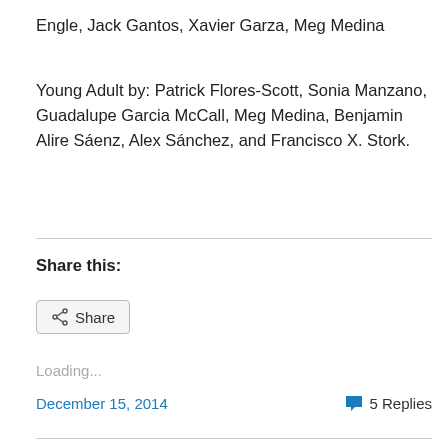Engle, Jack Gantos, Xavier Garza, Meg Medina
Young Adult by: Patrick Flores-Scott, Sonia Manzano, Guadalupe Garcia McCall, Meg Medina, Benjamin Alire Sáenz, Alex Sánchez, and Francisco X. Stork.
Share this:
[Figure (other): Share button with share icon]
Loading...
December 15, 2014
5 Replies